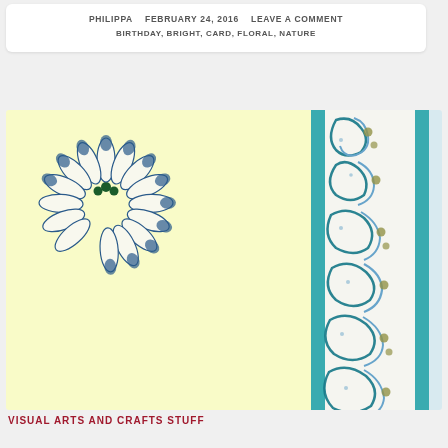PHILIPPA    FEBRUARY 24, 2016    LEAVE A COMMENT
BIRTHDAY, BRIGHT, CARD, FLORAL, NATURE
[Figure (photo): A handmade birthday card showing a pale yellow background with a white daisy flower with blue-tipped petals and dark green circular accents in the top left corner, and on the right a vertical decorative band with teal border strips flanking an ornate white paper with blue and teal acanthus leaf scrollwork and olive/gold dot accents.]
VISUAL ARTS AND CRAFTS STUFF